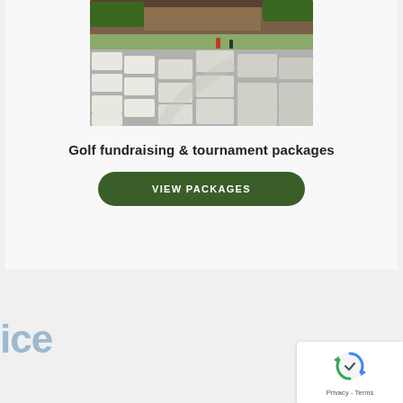[Figure (photo): Aerial view of many white golf carts lined up in rows outside a clubhouse building]
Golf fundraising & tournament packages
VIEW PACKAGES
ice
[Figure (logo): reCAPTCHA badge with spinning arrows icon and Privacy - Terms text]